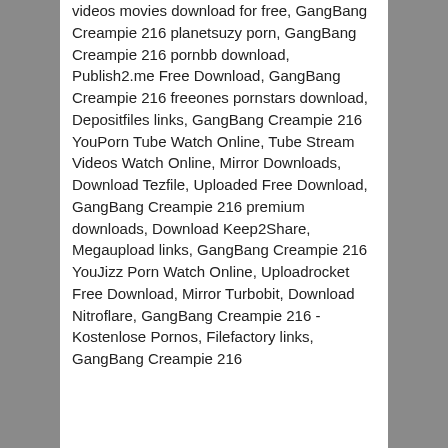videos movies download for free, GangBang Creampie 216 planetsuzy porn, GangBang Creampie 216 pornbb download, Publish2.me Free Download, GangBang Creampie 216 freeones pornstars download, Depositfiles links, GangBang Creampie 216 YouPorn Tube Watch Online, Tube Stream Videos Watch Online, Mirror Downloads, Download Tezfile, Uploaded Free Download, GangBang Creampie 216 premium downloads, Download Keep2Share, Megaupload links, GangBang Creampie 216 YouJizz Porn Watch Online, Uploadrocket Free Download, Mirror Turbobit, Download Nitroflare, GangBang Creampie 216 - Kostenlose Pornos, Filefactory links, GangBang Creampie 216